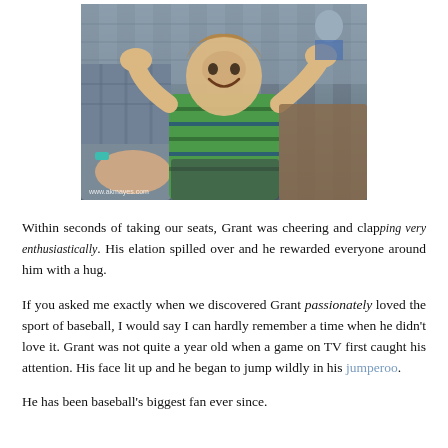[Figure (photo): A young boy smiling and clapping enthusiastically at a baseball game, seated in stadium seats. Adults are visible on either side. Watermark reads www.akmayes.com]
Within seconds of taking our seats, Grant was cheering and clapping very enthusiastically. His elation spilled over and he rewarded everyone around him with a hug.
If you asked me exactly when we discovered Grant passionately loved the sport of baseball, I would say I can hardly remember a time when he didn't love it. Grant was not quite a year old when a game on TV first caught his attention. His face lit up and he began to jump wildly in his jumperoo.
He has been baseball's biggest fan ever since.